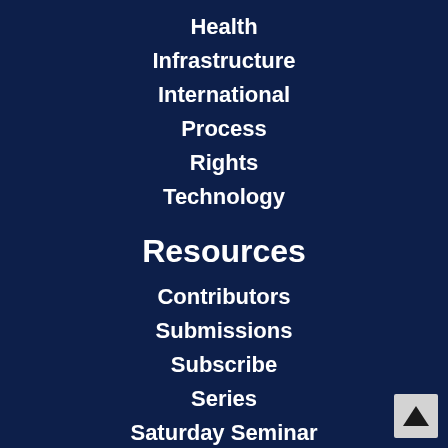Health
Infrastructure
International
Process
Rights
Technology
Resources
Contributors
Submissions
Subscribe
Series
Saturday Seminar
Week in Review
E-Rulemaking